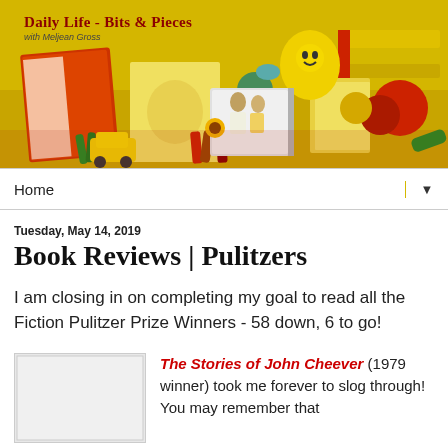[Figure (photo): Blog header banner reading 'Daily Life - Bits & Pieces with Meljean Gross' with colorful craft items including books, yarn balls, crayons, a smiley face mug, and a small toy car on a table surface]
Home ▼
Tuesday, May 14, 2019
Book Reviews | Pulitzers
I am closing in on completing my goal to read all the Fiction Pulitzer Prize Winners - 58 down, 6 to go!
[Figure (photo): Book cover image placeholder]
The Stories of John Cheever (1979 winner) took me forever to slog through! You may remember that